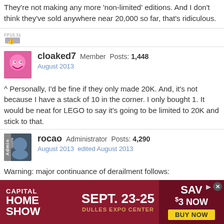They're not making any more 'non-limited' editions. And I don't think they've sold anywhere near 20,000 so far, that's ridiculous.
[Figure (illustration): Reaction icon or upvote image, small graphic]
cloaked7   Member   Posts: 1,448
August 2013
^ Personally, I'd be fine if they only made 20K. And, it's not because I have a stack of 10 in the corner. I only bought 1. It would be neat for LEGO to say it's going to be limited to 20K and stick to that.
rocao   Administrator   Posts: 4,290
August 2013   edited August 2013
Warning: major continuance of derailment follows:
cloaked7 said:
It is amazing to e that some people are making excuses for LEGO and their 'much in need of an upgrade' ordering system.
[Figure (infographic): Capital Home Show advertisement banner — SEPT. 23-25, DULLES EXPO CENTER, SAVE $3 NOW, BUY NOW]